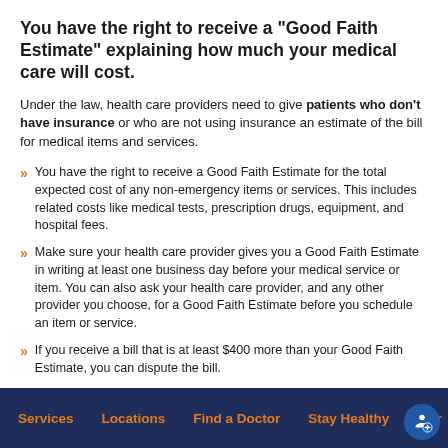You have the right to receive a "Good Faith Estimate" explaining how much your medical care will cost.
Under the law, health care providers need to give patients who don't have insurance or who are not using insurance an estimate of the bill for medical items and services.
You have the right to receive a Good Faith Estimate for the total expected cost of any non-emergency items or services. This includes related costs like medical tests, prescription drugs, equipment, and hospital fees.
Make sure your health care provider gives you a Good Faith Estimate in writing at least one business day before your medical service or item. You can also ask your health care provider, and any other provider you choose, for a Good Faith Estimate before you schedule an item or service.
If you receive a bill that is at least $400 more than your Good Faith Estimate, you can dispute the bill.
Make sure to save a copy or picture of your Good Faith Estimate.
Services   Locations   Find a Doctor   Stay Healthy   More